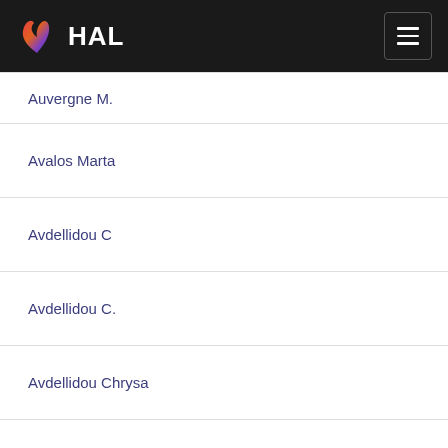HAL
Auvergne M.
Avalos Marta
Avdellidou C
Avdellidou C.
Avdellidou Chrysa
Ave M.
Avelino P. P.
Avendano V.
Avenhaus A
Avenhaus H.
Aveni G.